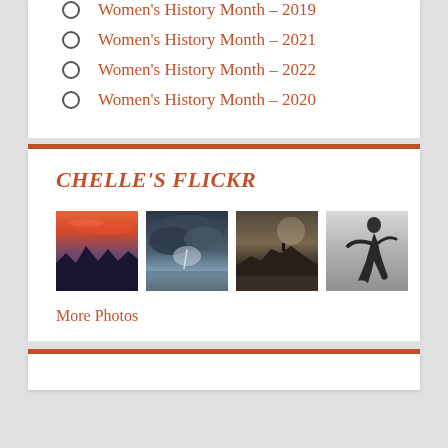Women's History Month – 2019
Women's History Month – 2021
Women's History Month – 2022
Women's History Month – 2020
CHELLE'S FLICKR
[Figure (photo): Grid of four Flickr photo thumbnails: 1) vivid red/orange sunset over mountain silhouettes, 2) dark storm clouds over a lake with lightning glow, 3) person on rocky coastal cliffs under dramatic sky, 4) black and white photo of a dancer or figure in motion]
More Photos